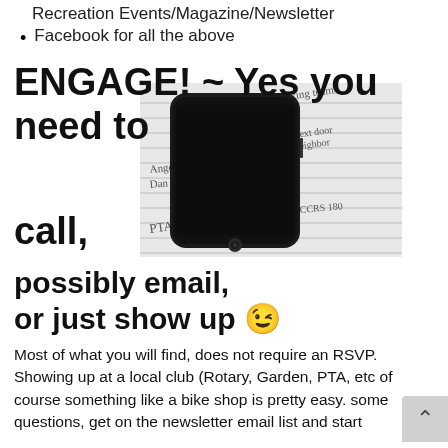Recreation Events/Magazine/Newsletter
Facebook for all the above
ENGAGE! ~ Yes you need to call,
[Figure (photo): A black smartphone resting on a paper with handwritten notes including words like 'talking teams', 'Jake', 'next door neighbor', 'PTA', 'Rocks', and other handwritten text.]
possibly email, or just show up 😉
Most of what you will find, does not require an RSVP. Showing up at a local club (Rotary, Garden, PTA, etc of course something like a bike shop is pretty easy. some questions, get on the newsletter email list and start